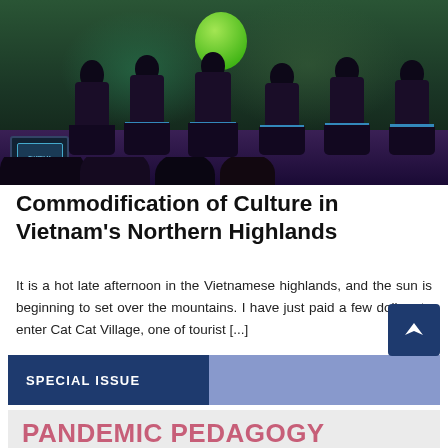[Figure (photo): Performers in traditional dark embroidered costumes on a stage, one holding a large green balloon. An audience member in foreground is filming on a device.]
Commodification of Culture in Vietnam’s Northern Highlands
It is a hot late afternoon in the Vietnamese highlands, and the sun is beginning to set over the mountains. I have just paid a few dollars to enter Cat Cat Village, one of tourist […]
SPECIAL ISSUE
[Figure (infographic): Special issue banner for 'Pandemic Pedagogy: Teaching Continuity in Times of Global Disruption' with grayscale faces of students/teachers along the bottom.]